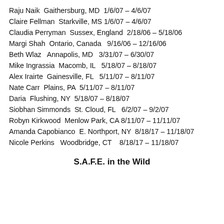Raju Naik  Gaithersburg, MD  1/6/07 – 4/6/07
Claire Fellman  Starkville, MS  1/6/07 – 4/6/07
Claudia Perryman  Sussex, England  2/18/06 – 5/18/06
Margi Shah  Ontario, Canada  9/16/06 – 12/16/06
Beth Wlaz  Annapolis, MD  3/31/07 – 6/30/07
Mike Ingrassia  Macomb, IL  5/18/07 – 8/18/07
Alex Irairte  Gainesville, FL  5/11/07 – 8/11/07
Nate Carr  Plains, PA  5/11/07 – 8/11/07
Daria  Flushing, NY  5/18/07 – 8/18/07
Siobhan Simmonds  St. Cloud, FL  6/2/07 – 9/2/07
Robyn Kirkwood  Menlow Park, CA  8/11/07 – 11/11/07
Amanda Capobianco  E. Northport, NY  8/18/17 – 11/18/07
Nicole Perkins  Woodbridge, CT  8/18/17 – 11/18/07
S.A.F.E. in the Wild